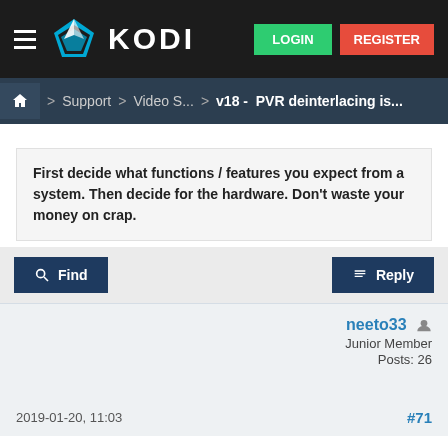KODI — LOGIN | REGISTER
Home > Support > Video S... > v18 - PVR deinterlacing is...
First decide what functions / features you expect from a system. Then decide for the hardware. Don't waste your money on crap.
Find   Reply
neeto33
Junior Member
Posts: 26
2019-01-20, 11:03
#71
Hi,